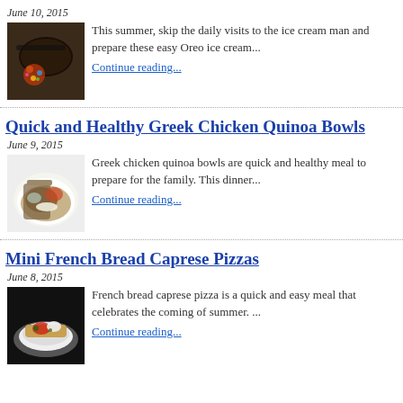June 10, 2015
[Figure (photo): Oreo ice cream sandwich cookies with colorful sprinkles]
This summer, skip the daily visits to the ice cream man and prepare these easy Oreo ice cream... Continue reading...
Quick and Healthy Greek Chicken Quinoa Bowls
June 9, 2015
[Figure (photo): Greek chicken quinoa bowl with vegetables and white sauce]
Greek chicken quinoa bowls are quick and healthy meal to prepare for the family.  This dinner... Continue reading...
Mini French Bread Caprese Pizzas
June 8, 2015
[Figure (photo): French bread caprese pizza on a dark plate]
French bread caprese pizza is a quick and easy meal that celebrates the coming of summer. ... Continue reading...